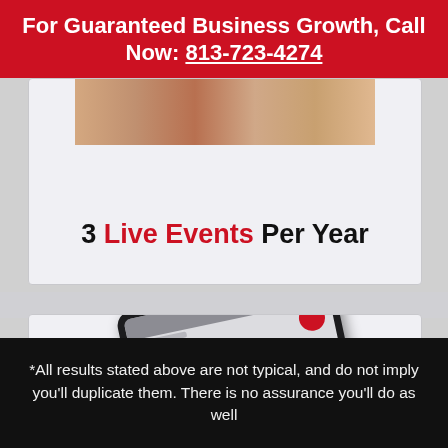For Guaranteed Business Growth, Call Now: 813-723-4274
3 Live Events Per Year
[Figure (photo): Tablet/iPad device showing a video call or online event with a bald man on screen, with red logo badges visible. The device is tilted at an angle against a light gray background.]
*All results stated above are not typical, and do not imply you'll duplicate them. There is no assurance you'll do as well